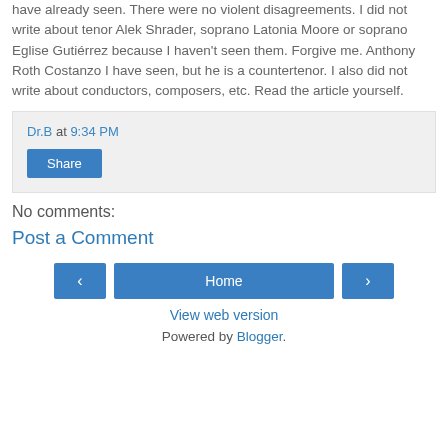have already seen.  There were no violent disagreements.  I did not write about tenor Alek Shrader, soprano Latonia Moore or soprano Eglise Gutiérrez because I haven't seen them.  Forgive me.  Anthony Roth Costanzo I have seen, but he is a countertenor. I also did not write about conductors, composers, etc.  Read the article yourself.
Dr.B at 9:34 PM
Share
No comments:
Post a Comment
Home
View web version
Powered by Blogger.